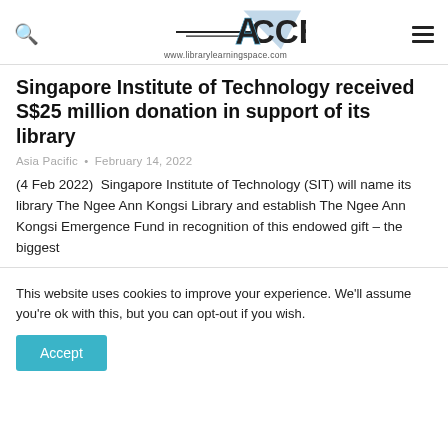ACCESS www.librarylearningspace.com
Singapore Institute of Technology received S$25 million donation in support of its library
Asia Pacific • February 14, 2022
(4 Feb 2022)  Singapore Institute of Technology (SIT) will name its library The Ngee Ann Kongsi Library and establish The Ngee Ann Kongsi Emergence Fund in recognition of this endowed gift – the biggest
This website uses cookies to improve your experience. We'll assume you're ok with this, but you can opt-out if you wish.